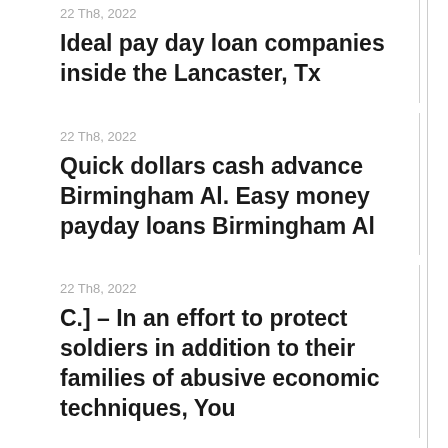22 Th8, 2022
Ideal pay day loan companies inside the Lancaster, Tx
22 Th8, 2022
Quick dollars cash advance Birmingham Al. Easy money payday loans Birmingham Al
22 Th8, 2022
C.] – In an effort to protect soldiers in addition to their families of abusive economic techniques, You